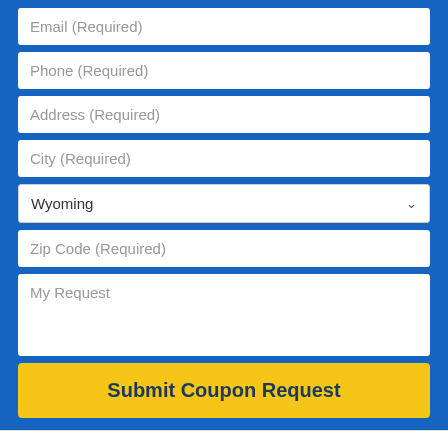Email (Required)
Phone (Required)
Address (Required)
City (Required)
Wyoming
Zip Code (Required)
My Request
Submit Coupon Request
Only water softeners soften water. Don't be fooled by magnets and magic beads!